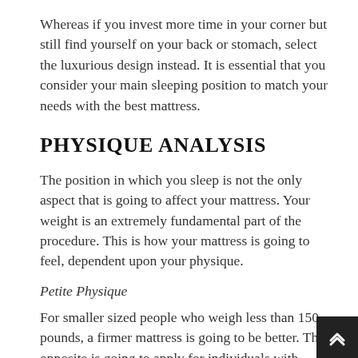Whereas if you invest more time in your corner but still find yourself on your back or stomach, select the luxurious design instead. It is essential that you consider your main sleeping position to match your needs with the best mattress.
PHYSIQUE ANALYSIS
The position in which you sleep is not the only aspect that is going to affect your mattress. Your weight is an extremely fundamental part of the procedure. This is how your mattress is going to feel, dependent upon your physique.
Petite Physique
For smaller sized people who weigh less than 150 pounds, a firmer mattress is going to be better. The opposite is going to apply for individuals with these